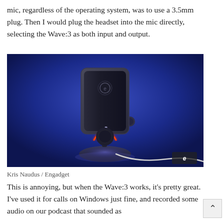mic, regardless of the operating system, was to use a 3.5mm plug. Then I would plug the headset into the mic directly, selecting the Wave:3 as both input and output.
[Figure (photo): A dark blue/purple microphone (Elgato Wave:3) with a rectangular capsule, round illuminated knob with orange/red LED ring, sitting on a circular base, against a blue fabric background. An Engadget logo watermark is in the bottom right corner.]
Kris Naudus / Engadget
This is annoying, but when the Wave:3 works, it's pretty great. I've used it for calls on Windows just fine, and recorded some audio on our podcast that sounded as